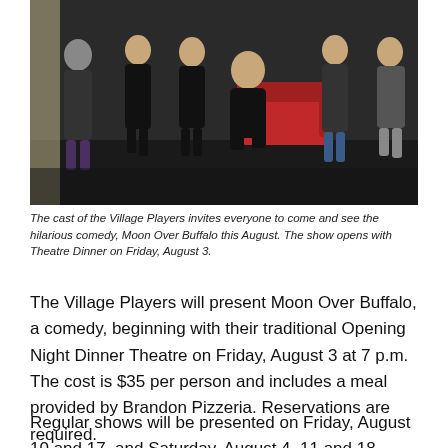[Figure (photo): Group photo of the cast of the Village Players on a stage, several people standing and one person kneeling in front, a red couch visible in the background, all wearing dark clothing.]
The cast of the Village Players invites everyone to come and see the hilarious comedy, Moon Over Buffalo this August. The show opens with Theatre Dinner on Friday, August 3.
The Village Players will present Moon Over Buffalo, a comedy, beginning with their traditional Opening Night Dinner Theatre on Friday, August 3 at 7 p.m. The cost is $35 per person and includes a meal provided by Brandon Pizzeria. Reservations are required.
Regular shows will be presented on Friday, August 10 and 17, and Saturday, August 4, 11 and 18. These shows will be